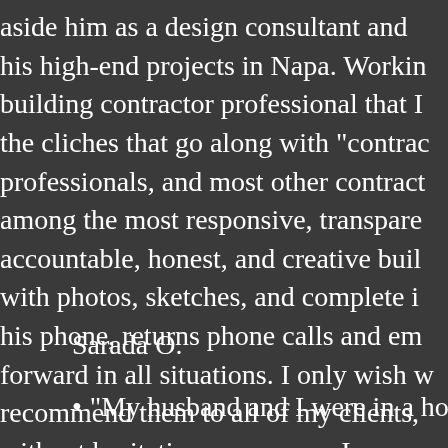aside him as a design consultant and his high-end projects in Napa. Working building contractor professional that I the cliches that go along with "contra professionals, and most other contrac among the most responsive, transpare accountable, honest, and creative bui with photos, sketches, and complete i his phone, returns phone calls and em forward in all situations. I only wish w recommend them to all of my clients, without hesitation or concern. In my o have with a contractor, hire Mark and
Sarada O.
"My husband and I were in a horrible